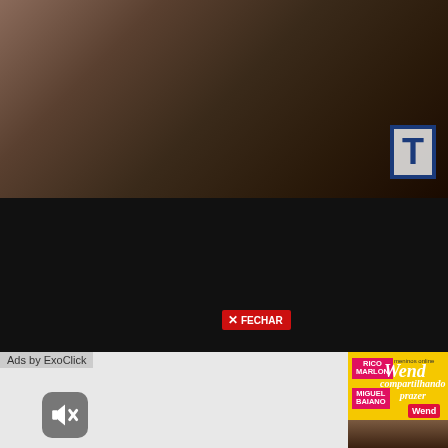[Figure (photo): Top portion of page showing a partial photo with warm brown/dark tones, with a partially visible blue-bordered 'T' logo in the upper right corner]
[Figure (infographic): Dark advertisement banner reading 'EXPERIMENTE NOSSO CONTEÚDO' on the left, '30 FILMES GRÁTIS' on the right with an orange '30', and a red 'X FECHAR' button in the center. Features silhouettes of male figures.]
Ads by ExoClick
[Figure (infographic): Yellow advertisement panel with text 'RICO MARLON' and 'MIGUEL BAIANO' in pink/magenta tags, script text 'Wend compartilhando prazer', 'meninos online' label, 'Wend' red button, and a photo of people below]
[Figure (photo): Adult content photo in the lower right portion of the page]